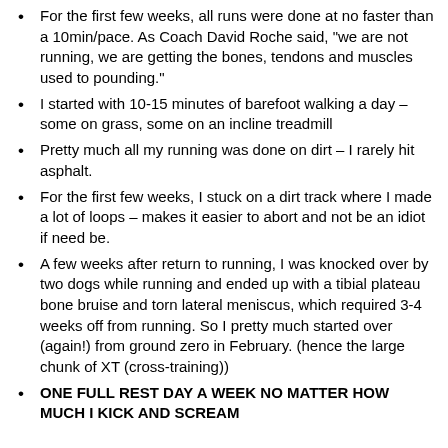For the first few weeks, all runs were done at no faster than a 10min/pace. As Coach David Roche said, "we are not running, we are getting the bones, tendons and muscles used to pounding."
I started with 10-15 minutes of barefoot walking a day – some on grass, some on an incline treadmill
Pretty much all my running was done on dirt – I rarely hit asphalt.
For the first few weeks, I stuck on a dirt track where I made a lot of loops – makes it easier to abort and not be an idiot if need be.
A few weeks after return to running, I was knocked over by two dogs while running and ended up with a tibial plateau bone bruise and torn lateral meniscus, which required 3-4 weeks off from running. So I pretty much started over (again!) from ground zero in February. (hence the large chunk of XT (cross-training))
ONE FULL REST DAY A WEEK NO MATTER HOW MUCH I KICK AND SCREAM